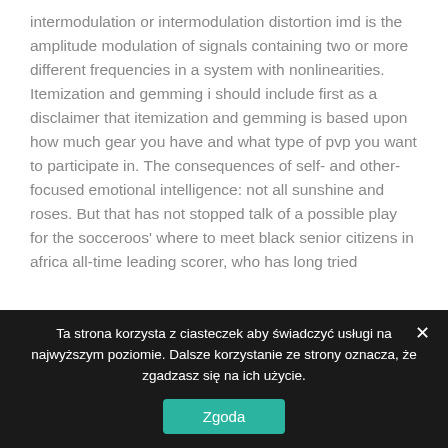intermodulation or intermodulation distortion imd is the amplitude modulation of signals containing two or more different frequencies in a system with nonlinearities. Itemization and gemming i should include first as a disclaimer that itemization and gemming is based upon how much gear you have and what type of pvp you want to participate in. The consequences of self- and other-focused emotional intelligence: not all sunshine and roses. But that has not stopped talk of a possible play for the socceroos' where to meet black senior citizens in africa all-time leading scorer, who has long tried
Ta strona korzysta z ciasteczek aby świadczyć usługi na najwyższym poziomie. Dalsze korzystanie ze strony oznacza, że zgadzasz się na ich użycie.